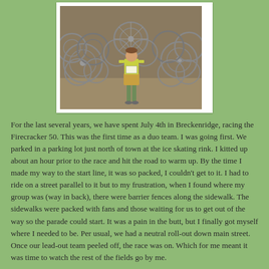[Figure (photo): A person in a yellow shirt and plaid shorts standing in front of a large sculpture made of bicycle wheels/rims, outdoors on a dirt ground.]
For the last several years, we have spent July 4th in Breckenridge, racing the Firecracker 50. This was the first time as a duo team. I was going first. We parked in a parking lot just north of town at the ice skating rink. I kitted up about an hour prior to the race and hit the road to warm up. By the time I made my way to the start line, it was so packed, I couldn't get to it. I had to ride on a street parallel to it but to my frustration, when I found where my group was (way in back), there were barrier fences along the sidewalk. The sidewalks were packed with fans and those waiting for us to get out of the way so the parade could start. It was a pain in the butt, but I finally got myself where I needed to be. Per usual, we had a neutral roll-out down main street. Once our lead-out team peeled off, the race was on. Which for me meant it was time to watch the rest of the fields go by me.